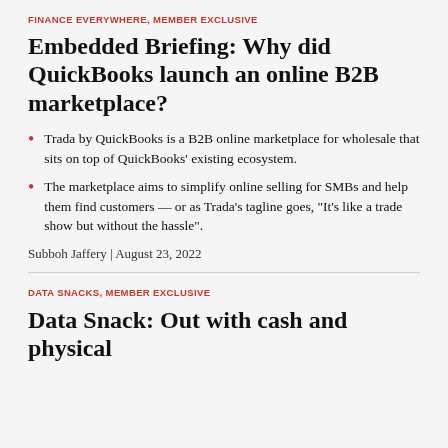FINANCE EVERYWHERE, MEMBER EXCLUSIVE
Embedded Briefing: Why did QuickBooks launch an online B2B marketplace?
Trada by QuickBooks is a B2B online marketplace for wholesale that sits on top of QuickBooks' existing ecosystem.
The marketplace aims to simplify online selling for SMBs and help them find customers — or as Trada's tagline goes, "It's like a trade show but without the hassle".
Subboh Jaffery | August 23, 2022
DATA SNACKS, MEMBER EXCLUSIVE
Data Snack: Out with cash and physical